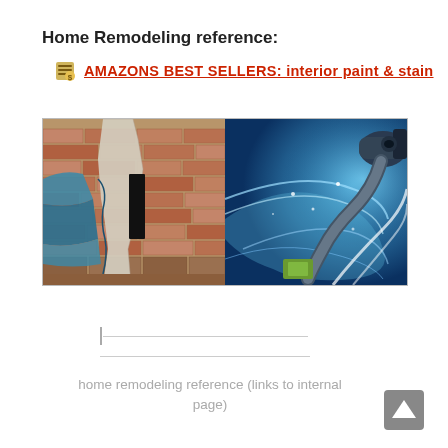Home Remodeling reference:
AMAZONS BEST SELLERS: interior paint & stain
[Figure (photo): Composite image showing a damaged brick wall with peeling blue paint on the left side, and a digital/futuristic visualization of a vacuum or suction device on the right side with blue swirling elements]
home remodeling reference (links to internal page)